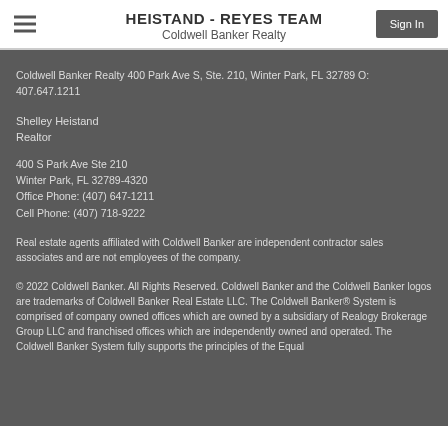HEISTAND - REYES TEAM
Coldwell Banker Realty
Coldwell Banker Realty 400 Park Ave S, Ste. 210, Winter Park, FL 32789 O: 407.647.1211
Shelley Heistand
Realtor
400 S Park Ave Ste 210
Winter Park, FL 32789-4320
Office Phone: (407) 647-1211
Cell Phone: (407) 718-9222
Real estate agents affiliated with Coldwell Banker are independent contractor sales associates and are not employees of the company.
© 2022 Coldwell Banker. All Rights Reserved. Coldwell Banker and the Coldwell Banker logos are trademarks of Coldwell Banker Real Estate LLC. The Coldwell Banker® System is comprised of company owned offices which are owned by a subsidiary of Realogy Brokerage Group LLC and franchised offices which are independently owned and operated. The Coldwell Banker System fully supports the principles of the Equal...